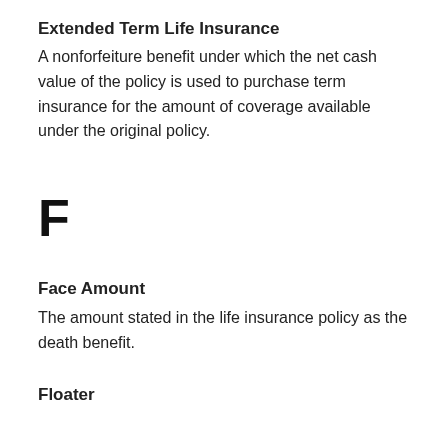Extended Term Life Insurance
A nonforfeiture benefit under which the net cash value of the policy is used to purchase term insurance for the amount of coverage available under the original policy.
F
Face Amount
The amount stated in the life insurance policy as the death benefit.
Floater